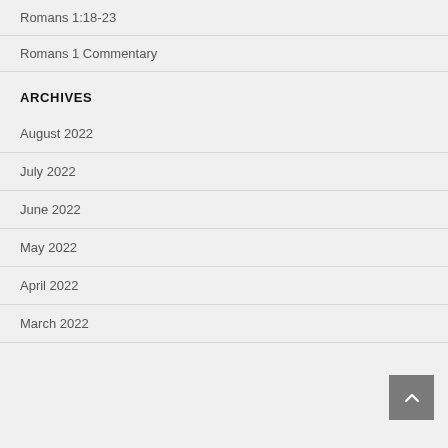Romans 1:18-23
Romans 1 Commentary
ARCHIVES
August 2022
July 2022
June 2022
May 2022
April 2022
March 2022